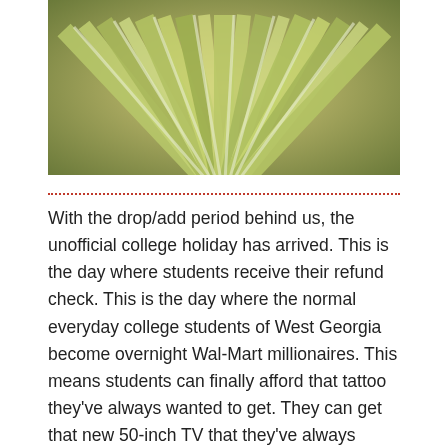[Figure (photo): A fan of US dollar bills spread out in a circular pattern, showing green and white bills viewed from above.]
With the drop/add period behind us, the unofficial college holiday has arrived. This is the day where students receive their refund check. This is the day where the normal everyday college students of West Georgia become overnight Wal-Mart millionaires. This means students can finally afford that tattoo they've always wanted to get. They can get that new 50-inch TV that they've always wanted. For a short period of time, they are the stars of their own reality show, “How I Blew My Refund.”
You’re winning right? You can believe that if you want to. The real winners are the local retailers, the local